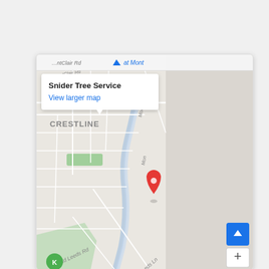[Figure (map): Google Maps screenshot showing Snider Tree Service location in Crestline neighborhood. An info popup displays 'Snider Tree Service' and 'View larger map' link. A red location pin marks the business. Street labels include 'Old Leeds Rd' and 'Old Leeds Ln'. A scroll-up button and zoom-in button are visible on the map.]